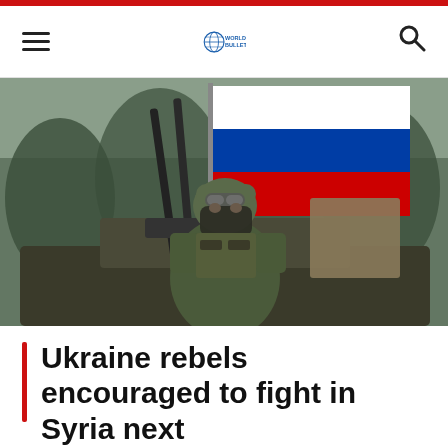World Bulletin
[Figure (photo): Armed soldier in green military uniform and helmet with face mask, sitting in a military vehicle with mounted weapons, with a large Russian tricolor flag (white, blue, red) waving in the background against a winter tree backdrop.]
Ukraine rebels encouraged to fight in Syria next